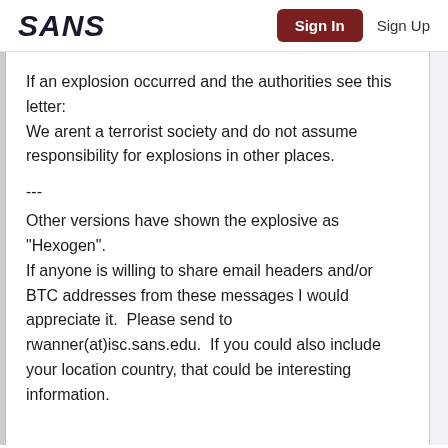SANS | Sign In | Sign Up
If an explosion occurred and the authorities see this letter:
We arent a terrorist society and do not assume responsibility for explosions in other places.
---
Other versions have shown the explosive as "Hexogen".
If anyone is willing to share email headers and/or BTC addresses from these messages I would appreciate it.  Please send to rwanner(at)isc.sans.edu.  If you could also include your location country, that could be interesting information.